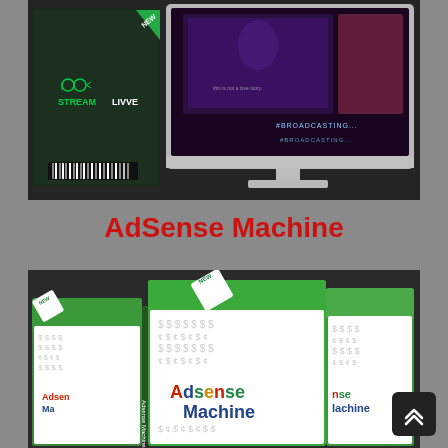[Figure (photo): StreamLivve product box next to an iMac monitor showing a dark broadcasting interface with BROADCASTING... text overlaid]
AdSense Machine
[Figure (photo): Three Adsense Machine product boxes with green tops, white fronts showing dollar signs pattern, and the text 'Adsense Machine' in multicolor letters]